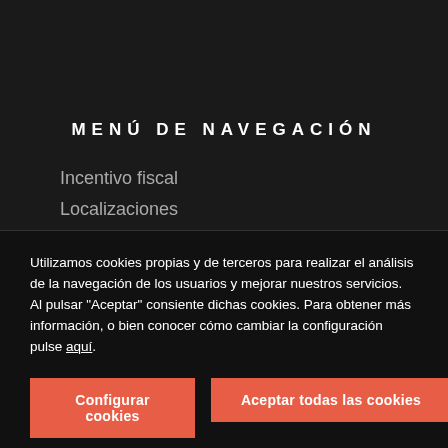MENÚ DE NAVEGACIÓN
Incentivo fiscal
Localizaciones
Utilizamos cookies propias y de terceros para realizar el análisis de la navegación de los usuarios y mejorar nuestros servicios.
Al pulsar "Aceptar" consiente dichas cookies. Para obtener más información, o bien conocer cómo cambiar la configuración pulse aquí.
Configurar cookies
Aceptar todas las cookies
Rechazar cookies